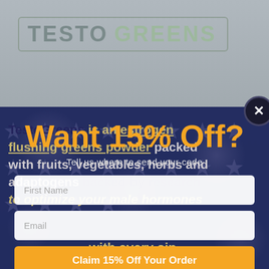[Figure (logo): TestoGreens logo: TESTO in dark gray, GREENS in muted green, inside a rounded rectangle border]
TestoGreens is an estrogen flushing greens powder packed with fruits, vegetables, herbs and adaptogens backed by research to optimize your male hormones with every sip.
Want 15% Off?
Tell us where to send your code
First Name
Email
Claim 15% Off Your Order